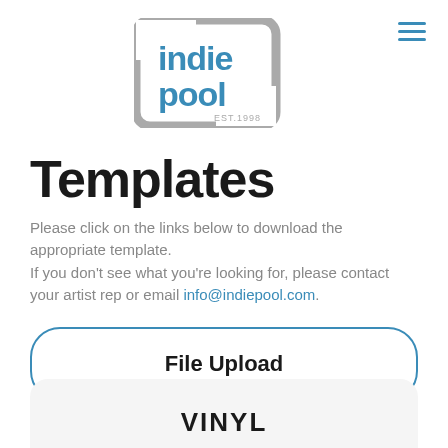[Figure (logo): Indie Pool logo with blue and gray text, rounded square bracket design, EST.1998]
Templates
Please click on the links below to download the appropriate template.
If you don't see what you're looking for, please contact your artist rep or email info@indiepool.com.
File Upload
VINYL